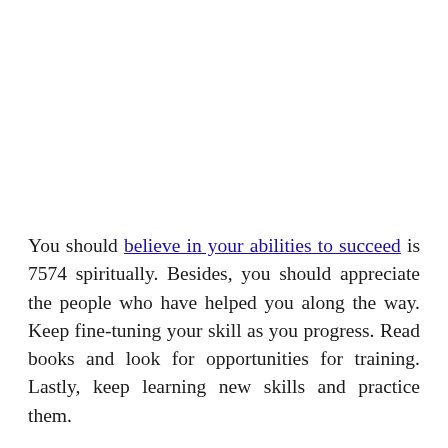You should believe in your abilities to succeed is 7574 spiritually. Besides, you should appreciate the people who have helped you along the way. Keep fine-tuning your skill as you progress. Read books and look for opportunities for training. Lastly, keep learning new skills and practice them.